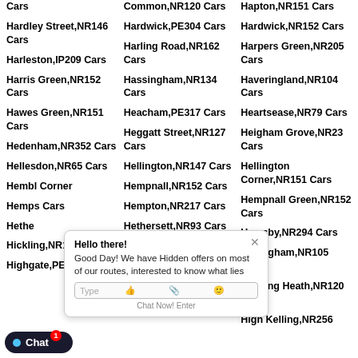Cars
Common,NR120 Cars
Hapton,NR151 Cars
Hardley Street,NR146 Cars
Hardwick,PE304 Cars
Hardwick,NR152 Cars
Harleston,IP209 Cars
Harling Road,NR162 Cars
Harpers Green,NR205 Cars
Harris Green,NR152 Cars
Hassingham,NR134 Cars
Haveringland,NR104 Cars
Hawes Green,NR151 Cars
Heacham,PE317 Cars
Heartsease,NR79 Cars
Hedenham,NR352 Cars
Heggatt Street,NR127 Cars
Heigham Grove,NR23 Cars
Hellesdon,NR65 Cars
Hellington,NR147 Cars
Hellington Corner,NR151 Cars
Hembling Corner Cars
Hempnall,NR152 Cars
Hempnall Green,NR152 Cars
Hempstead Cars
Hempton,NR217 Cars
Hemsby,NR294 Cars
Hethersett,NR93 Cars
Hevingham,NR105 Cars
Hickling,NR120 Cars
Hickling Green,NR120 Cars
Hickling Heath,NR120 Cars
High Kelling,NR256
Highgate,PE301 Cars
High Green,IP257 Cars